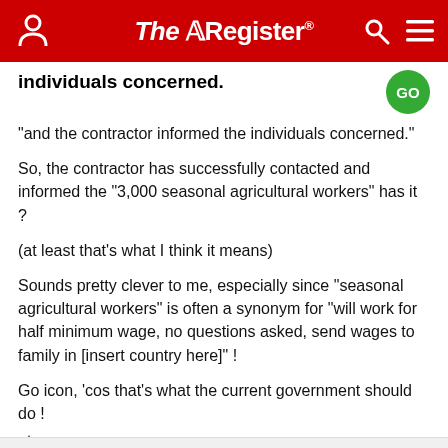The Register
individuals concerned.
"and the contractor informed the individuals concerned."
So, the contractor has successfully contacted and informed the "3,000 seasonal agricultural workers" has it ?
(at least that's what I think it means)
Sounds pretty clever to me, especially since "seasonal agricultural workers" is often a synonym for "will work for half minimum wage, no questions asked, send wages to family in [insert country here]" !
Go icon, 'cos that's what the current government should do !
↑0  ↓0